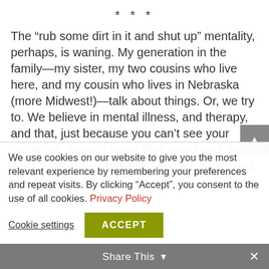* * *
The “rub some dirt in it and shut up” mentality, perhaps, is waning. My generation in the family—my sister, my two cousins who live here, and my cousin who lives in Nebraska (more Midwest!)—talk about things. Or, we try to. We believe in mental illness, and therapy, and that, just because you can’t see your problems, doesn’t mean they aren’t real, at least. Sometimes that feels like a big step, but it also feels awful to
We use cookies on our website to give you the most relevant experience by remembering your preferences and repeat visits. By clicking “Accept”, you consent to the use of all cookies. Privacy Policy
Cookie settings
ACCEPT
Share This